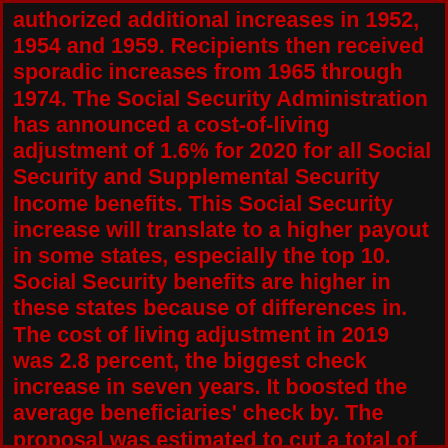authorized additional increases in 1952, 1954 and 1959. Recipients then received sporadic increases from 1965 through 1974. The Social Security Administration has announced a cost-of-living adjustment of 1.6% for 2020 for all Social Security and Supplemental Security Income benefits. This Social Security increase will translate to a higher payout in some states, especially the top 10. Social Security benefits are higher in these states because of differences in. The cost of living adjustment in 2019 was 2.8 percent, the biggest check increase in seven years. It boosted the average beneficiaries' check by. The proposal was estimated to cut a total of $230 billion from Social Security in just the first decade. Proponents of Chained-CPI make two arguments for it: They argue, on technocratic grounds, that it's a better measure of inflation, even if implementing it makes many people worse off. They argue that the partial offset makes Chained-CPI. Testimony by Stephen C. Goss, Chief Actuary, Social Security Administration House Ways and Means Subcommittee on Social Security July 17,